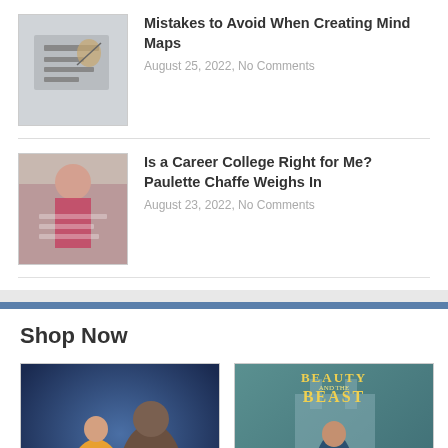[Figure (photo): Thumbnail image of hands writing/working on a document (mind maps)]
Mistakes to Avoid When Creating Mind Maps
August 25, 2022, No Comments
[Figure (photo): Thumbnail image of a person working at a desk, studying or working with papers]
Is a Career College Right for Me? Paulette Chaffe Weighs In
August 23, 2022, No Comments
Shop Now
[Figure (photo): Movie poster for Beauty and the Beast animated version showing Belle in yellow dress and the Beast]
[Figure (photo): Movie poster for Beauty and the Beast live-action version showing couple embracing with castle in background]
Beauty and the Beast (4K UHD)
Beauty And The Beast
$19.99
(1871)
(1188)